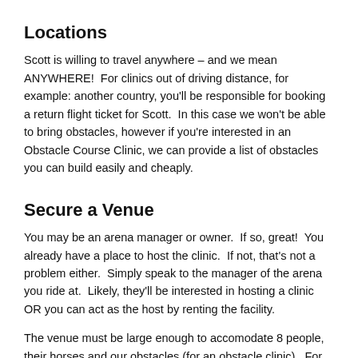Locations
Scott is willing to travel anywhere – and we mean ANYWHERE!  For clinics out of driving distance, for example: another country, you'll be responsible for booking a return flight ticket for Scott.  In this case we won't be able to bring obstacles, however if you're interested in an Obstacle Course Clinic, we can provide a list of obstacles you can build easily and cheaply.
Secure a Venue
You may be an arena manager or owner.  If so, great!  You already have a place to host the clinic.  If not, that's not a problem either.  Simply speak to the manager of the arena you ride at.  Likely, they'll be interested in hosting a clinic OR you can act as the host by renting the facility.
The venue must be large enough to accomodate 8 people, their horses and our obstacles (for an obstacle clinic).  For the Progressive Clinics, Scott works with one person at a time so less space would be required.  Our